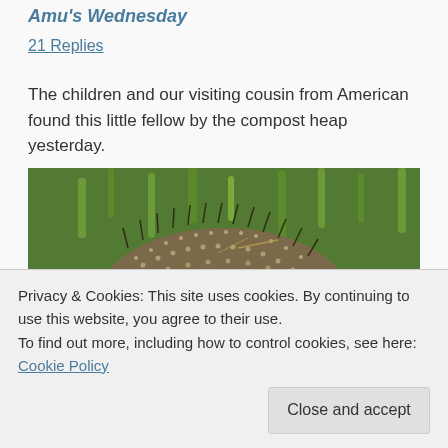Amu's Wednesday
21 Replies
The children and our visiting cousin from American found this little fellow by the compost heap yesterday.
[Figure (photo): Close-up photograph of a hedgehog on grass near a compost heap, showing the spiny back of the animal surrounded by green grass and soil.]
Privacy & Cookies: This site uses cookies. By continuing to use this website, you agree to their use.
To find out more, including how to control cookies, see here: Cookie Policy
Close and accept